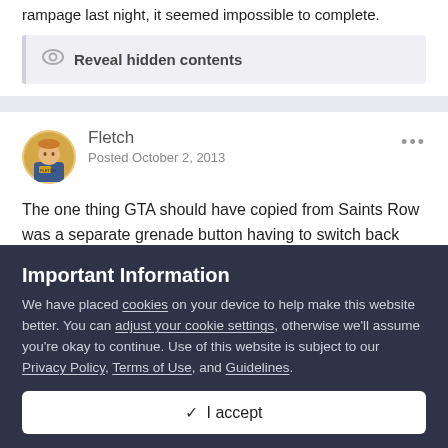rampage last night, it seemed impossible to complete.
Reveal hidden contents
Fletch
Posted October 2, 2013
The one thing GTA should have copied from Saints Row was a separate grenade button having to switch back and forth between grenades and guns is incredibly fiddly and I tend not to
Important Information
We have placed cookies on your device to help make this website better. You can adjust your cookie settings, otherwise we'll assume you're okay to continue. Use of this website is subject to our Privacy Policy, Terms of Use, and Guidelines.
✓ I accept